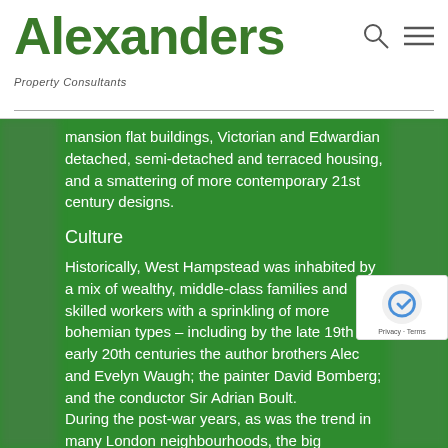Alexanders
Property Consultants
mansion flat buildings, Victorian and Edwardian detached, semi-detached and terraced housing, and a smattering of more contemporary 21st century designs.
Culture
Historically, West Hampstead was inhabited by a mix of wealthy, middle-class families and skilled workers with a sprinkling of more bohemian types – including by the late 19th and early 20th centuries the author brothers Alec and Evelyn Waugh; the painter David Bomberg; and the conductor Sir Adrian Boult.
During the post-war years, as was the trend in many London neighbourhoods, the big Victorian and Edwardian houses and the grand red brick mansions were gradually refurbished and converted into spacious flats, which has in recent years skewed the demographics of the area towards younger